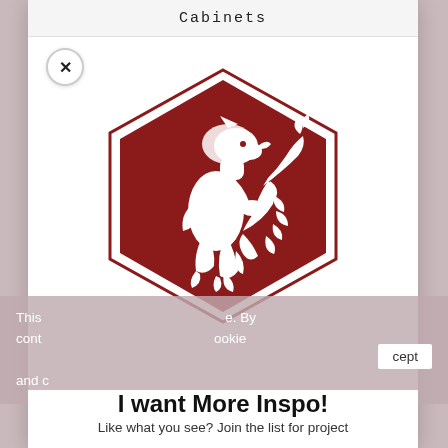Cabinets
[Figure (logo): Hexagonal dark red heraldic logo with a white rampant lion holding a floral branch inside a hexagon border]
This ... e. By cont ... ookie and c ...
I want More Inspo!
Like what you see?  Join the list for project